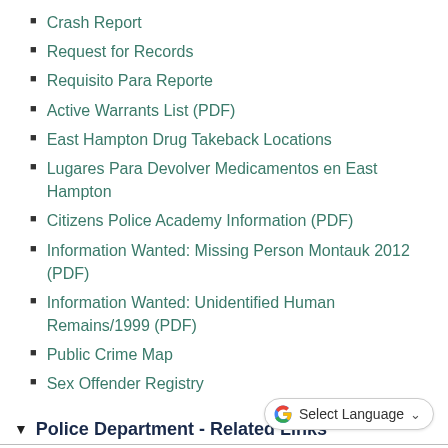Crash Report
Request for Records
Requisito Para Reporte
Active Warrants List (PDF)
East Hampton Drug Takeback Locations
Lugares Para Devolver Medicamentos en East Hampton
Citizens Police Academy Information (PDF)
Information Wanted: Missing Person Montauk 2012 (PDF)
Information Wanted: Unidentified Human Remains/1999 (PDF)
Public Crime Map
Sex Offender Registry
▼ Police Department - Related Links
The Suffolk County Police Department
The New York State Division of Criminal Justice
Suffolk County
The F.B.I.
The New York State Police